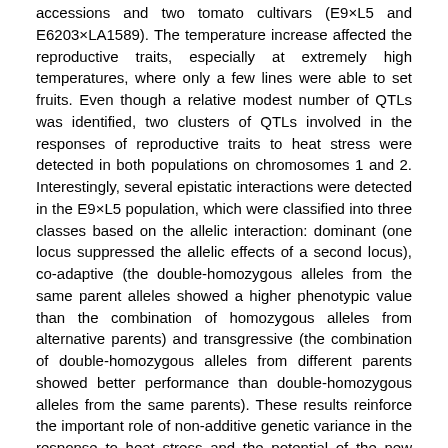accessions and two tomato cultivars (E9×L5 and E6203×LA1589). The temperature increase affected the reproductive traits, especially at extremely high temperatures, where only a few lines were able to set fruits. Even though a relative modest number of QTLs was identified, two clusters of QTLs involved in the responses of reproductive traits to heat stress were detected in both populations on chromosomes 1 and 2. Interestingly, several epistatic interactions were detected in the E9×L5 population, which were classified into three classes based on the allelic interaction: dominant (one locus suppressed the allelic effects of a second locus), co-adaptive (the double-homozygous alleles from the same parent alleles showed a higher phenotypic value than the combination of homozygous alleles from alternative parents) and transgressive (the combination of double-homozygous alleles from different parents showed better performance than double-homozygous alleles from the same parents). These results reinforce the important role of non-additive genetic variance in the response to heat stress and the potential of the new allelic combinations that arise after wide crosses.
Colecciones
1.1.- Artículos de revista académica